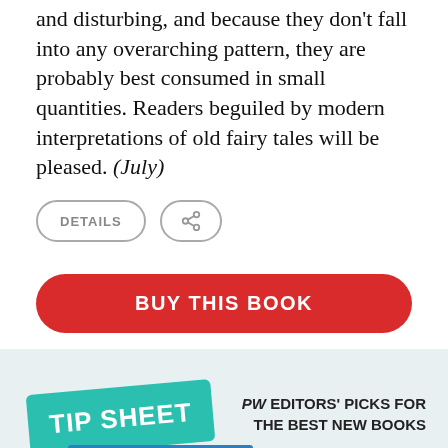and disturbing, and because they don't fall into any overarching pattern, they are probably best consumed in small quantities. Readers beguiled by modern interpretations of old fairy tales will be pleased. (July)
[Figure (screenshot): Two UI buttons: a rounded 'DETAILS' button and a rounded share icon button]
BUY THIS BOOK
[Figure (logo): TIP SHEET logo with green banner and blue sub-banner reading 'What to read next.']
PW EDITORS' PICKS FOR THE BEST NEW BOOKS
[Figure (screenshot): Email input field and SIGN UP button with dark overlay at bottom]